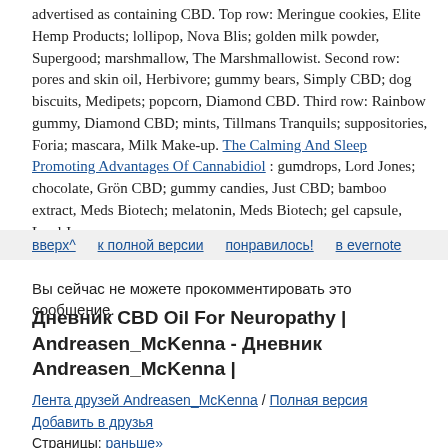advertised as containing CBD. Top row: Meringue cookies, Elite Hemp Products; lollipop, Nova Blis; golden milk powder, Supergood; marshmallow, The Marshmallowist. Second row: pores and skin oil, Herbivore; gummy bears, Simply CBD; dog biscuits, Medipets; popcorn, Diamond CBD. Third row: Rainbow gummy, Diamond CBD; mints, Tillmans Tranquils; suppositories, Foria; mascara, Milk Make-up. The Calming And Sleep Promoting Advantages Of Cannabidiol : gumdrops, Lord Jones; chocolate, Grön CBD; gummy candies, Just CBD; bamboo extract, Meds Biotech; melatonin, Meds Biotech; gel capsule, Lord Jones.
вверх^   к полной версии   понравилось!   в evernote
Вы сейчас не можете прокомментировать это сообщение.
Дневник CBD Oil For Neuropathy | Andreasen_McKenna - Дневник Andreasen_McKenna |
Лента друзей Andreasen_McKenna / Полная версия
Добавить в друзья
Страницы: раньше»